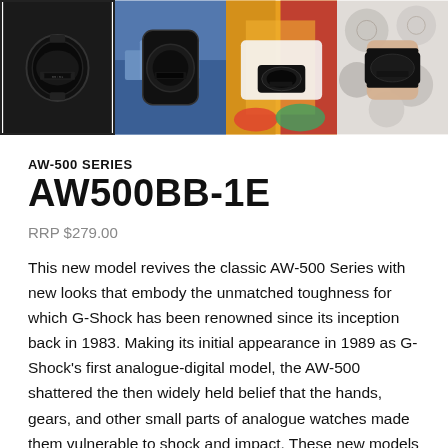[Figure (photo): Strip of four product photos: (1) black G-Shock AW500BB-1E watch on black background with selection border, (2) black G-Shock watch on blue lifestyle background, (3) person wearing colorful outfit with G-Shock watch showing, (4) hand wearing G-Shock watch near decorative balls.]
AW-500 SERIES
AW500BB-1E
RRP $279.00
This new model revives the classic AW-500 Series with new looks that embody the unmatched toughness for which G-Shock has been renowned since its inception back in 1983. Making its initial appearance in 1989 as G-Shock's first analogue-digital model, the AW-500 shattered the then widely held belief that the hands, gears, and other small parts of analogue watches made them vulnerable to shock and impact. These new models provide a choice of new colour variations. The AW-500BB